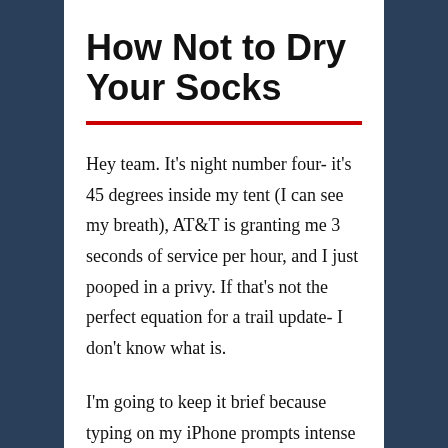How Not to Dry Your Socks
Hey team. It’s night number four- it’s 45 degrees inside my tent (I can see my breath), AT&T is granting me 3 seconds of service per hour, and I just pooped in a privy. If that’s not the perfect equation for a trail update- I don’t know what is.
I’m going to keep it brief because typing on my iPhone prompts intense